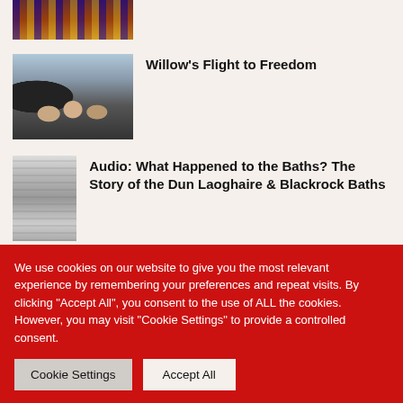[Figure (photo): Partial view of stained glass church interior, cropped at top]
[Figure (photo): Group photo of several people at what appears to be an airport or transit area]
Willow's Flight to Freedom
[Figure (photo): Black and white historical photo of people at outdoor baths/swimming area]
Audio: What Happened to the Baths? The Story of the Dun Laoghaire & Blackrock Baths
We use cookies on our website to give you the most relevant experience by remembering your preferences and repeat visits. By clicking "Accept All", you consent to the use of ALL the cookies. However, you may visit "Cookie Settings" to provide a controlled consent.
Cookie Settings
Accept All